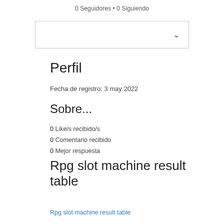0 Seguidores • 0 Siguiendo
[Figure (screenshot): Dropdown selector box with chevron arrow on the right]
Perfil
Fecha de registro: 3 may 2022
Sobre...
0 Like/s recibido/s
0 Comentario recibido
0 Mejor respuesta
Rpg slot machine result table
Rpg slot machine result table